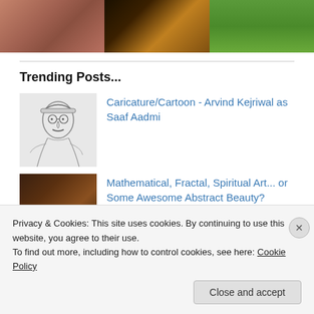[Figure (photo): Three thumbnail images in a row at the top: a pinkish/red textured image on the left, a dark painting with orange/yellow swirls in the middle, and a green grassy outdoor photo on the right]
Trending Posts...
[Figure (illustration): Black and white caricature/sketch of Arvind Kejriwal as Saaf Aadmi, showing a cartoon figure in traditional Indian attire]
Caricature/Cartoon - Arvind Kejriwal as Saaf Aadmi
[Figure (photo): Dark abstract photo, brownish and dark tones, possibly a close-up of a natural or abstract subject]
Mathematical, Fractal, Spiritual Art... or Some Awesome Abstract Beauty?
Privacy & Cookies: This site uses cookies. By continuing to use this website, you agree to their use.
To find out more, including how to control cookies, see here: Cookie Policy